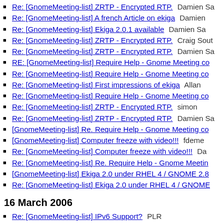Re: [GnomeMeeting-list] ZRTP - Encrypted RTP.  Damien Sa
Re: [GnomeMeeting-list] A french Article on ekiga  Damien
Re: [GnomeMeeting-list] Ekiga 2.0.1 available  Damien Sa
Re: [GnomeMeeting-list] ZRTP - Encrypted RTP.  Craig Sout
Re: [GnomeMeeting-list] ZRTP - Encrypted RTP.  Damien Sa
RE: [GnomeMeeting-list] Require Help - Gnome Meeting co
Re: [GnomeMeeting-list] Require Help - Gnome Meeting co
Re: [GnomeMeeting-list] First impressions of ekiga  Allan
Re: [GnomeMeeting-list] Require Help - Gnome Meeting co
Re: [GnomeMeeting-list] ZRTP - Encrypted RTP.  simon
Re: [GnomeMeeting-list] ZRTP - Encrypted RTP.  Damien Sa
[GnomeMeeting-list] Re. Require Help - Gnome Meeting co
[GnomeMeeting-list] Computer freeze with video!!!  fdeme
Re: [GnomeMeeting-list] Computer freeze with video!!!  Da
Re: [GnomeMeeting-list] Re. Require Help - Gnome Meetin
[GnomeMeeting-list] Ekiga 2.0 under RHEL 4 / GNOME 2.8
Re: [GnomeMeeting-list] Ekiga 2.0 under RHEL 4 / GNOME
16 March 2006
Re: [GnomeMeeting-list] IPv6 Support?  PLR